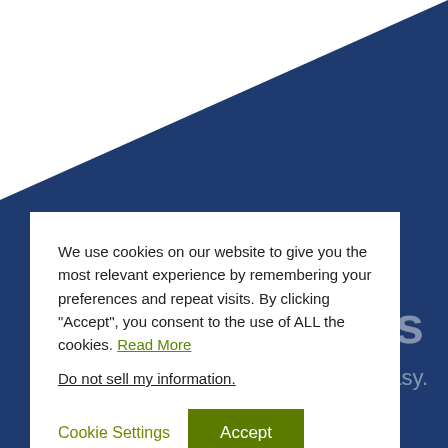[Figure (illustration): Dark navy blue background with a white triangular shape in the upper-left corner. Partially visible large white text letters 'r s' and 'easy.' in the lower-right background area.]
We use cookies on our website to give you the most relevant experience by remembering your preferences and repeat visits. By clicking "Accept", you consent to the use of ALL the cookies. Read More
Do not sell my information.
Cookie Settings
Accept